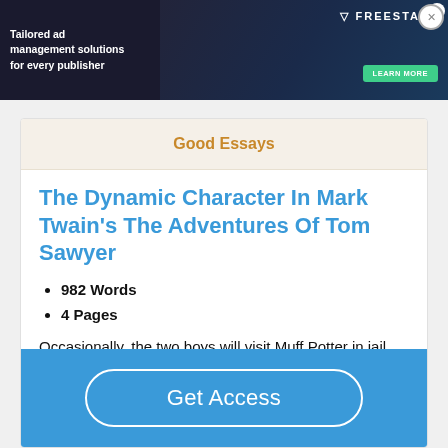[Figure (screenshot): Advertisement banner: 'Tailored ad management solutions for every publisher' with Freesta logo and Learn More button on dark background]
Good Essays
The Dynamic Character In Mark Twain's The Adventures Of Tom Sawyer
982 Words
4 Pages
Occasionally, the two boys will visit Muff Potter in jail, where he does not know that the crime that he was accused of is false. He thanks the boys continuously for all that they are
Get Access